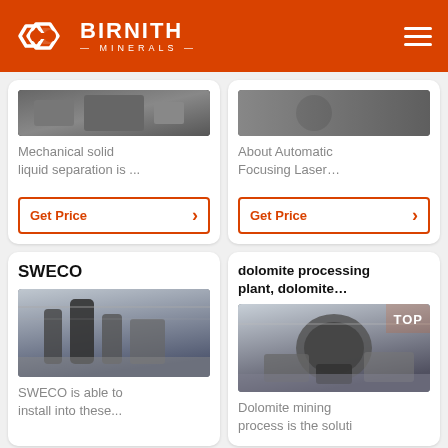BIRNITH MINERALS
Mechanical solid liquid separation is ...
Get Price
About Automatic Focusing Laser...
Get Price
SWECO
[Figure (photo): Industrial machinery in a factory setting]
SWECO is able to install into these...
dolomite processing plant, dolomite...
[Figure (photo): Industrial mining/crushing equipment in a large facility]
Dolomite mining process is the soluti